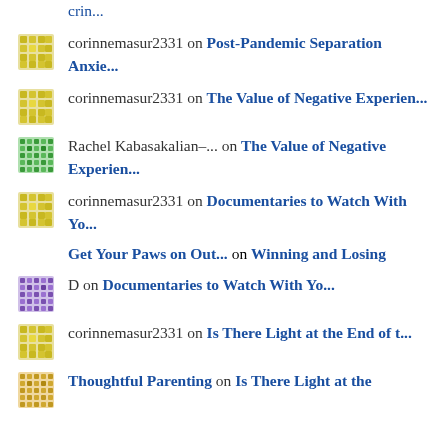crin... (truncated top)
corinnemasur2331 on Post-Pandemic Separation Anxie...
corinnemasur2331 on The Value of Negative Experien...
Rachel Kabasakalian-... on The Value of Negative Experien...
corinnemasur2331 on Documentaries to Watch With Yo...
Get Your Paws on Out... on Winning and Losing
D on Documentaries to Watch With Yo...
corinnemasur2331 on Is There Light at the End of t...
Thoughtful Parenting on Is There Light at the